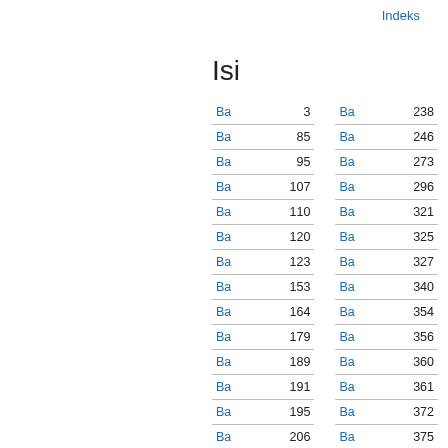Indeks
Isi
| Col1 | Page1 | Col2 | Page2 |
| --- | --- | --- | --- |
| Ba | 3 | Ba | 238 |
| Ba | 85 | Ba | 246 |
| Ba | 95 | Ba | 273 |
| Ba | 107 | Ba | 296 |
| Ba | 110 | Ba | 321 |
| Ba | 120 | Ba | 325 |
| Ba | 123 | Ba | 327 |
| Ba | 153 | Ba | 340 |
| Ba | 164 | Ba | 354 |
| Ba | 179 | Ba | 356 |
| Ba | 189 | Ba | 360 |
| Ba | 191 | Ba | 361 |
| Ba | 195 | Ba | 372 |
| Ba | 206 | Ba | 375 |